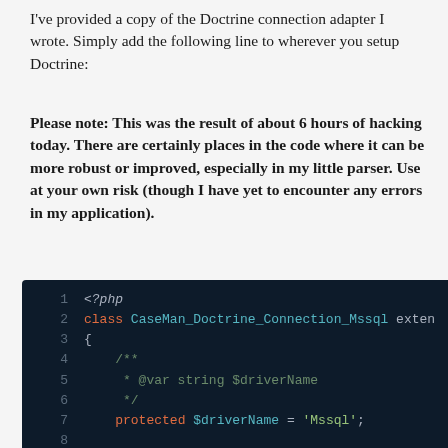I've provided a copy of the Doctrine connection adapter I wrote. Simply add the following line to wherever you setup Doctrine:
Please note: This was the result of about 6 hours of hacking today. There are certainly places in the code where it can be more robust or improved, especially in my little parser. Use at your own risk (though I have yet to encounter any errors in my application).
[Figure (screenshot): PHP code block on dark background showing class CaseMan_Doctrine_Connection_Mssql with lines 1-9 visible. Line 1: <?php, Line 2: class CaseMan_Doctrine_Connection_Mssql exten, Line 3: {, Line 4: /**, Line 5: * @var string $driverName, Line 6: */, Line 7: protected $driverName = 'Mssql';, Line 8: (empty), Line 9: /**]